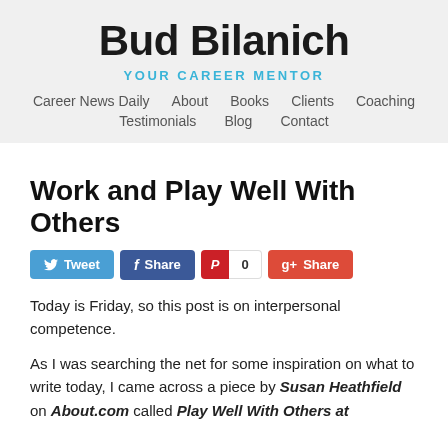Bud Bilanich
YOUR CAREER MENTOR
Career News Daily  About  Books  Clients  Coaching  Testimonials  Blog  Contact
Work and Play Well With Others
[Figure (other): Social media sharing buttons: Tweet (Twitter), Share (Facebook), Pinterest with count 0, Share (Google+)]
Today is Friday, so this post is on interpersonal competence.
As I was searching the net for some inspiration on what to write today, I came across a piece by Susan Heathfield on About.com called Play Well With Others at